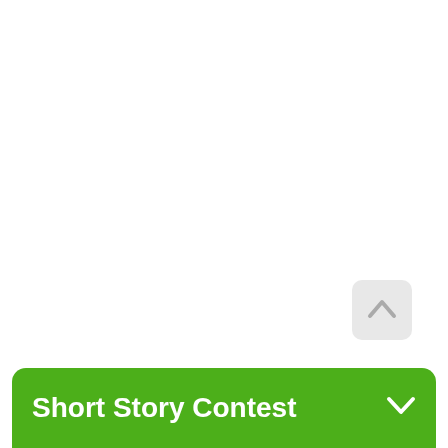[Figure (screenshot): A scroll-to-top button: a rounded square with a light grey background containing an upward-pointing chevron arrow, positioned in the lower right area of the page.]
Short Story Contest